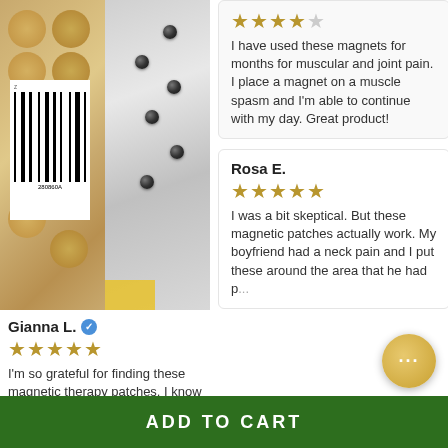[Figure (photo): Left half shows circular tan/gold magnetic patches with a barcode label on white paper. Right half shows small black metal magnetic dots on silver/gray surface.]
Gianna L. ✓
[Figure (other): 5 out of 5 gold stars rating]
I'm so grateful for finding these magnetic therapy patches. I know magnets don't work...
[Figure (other): 4 out of 5 gold stars rating]
I have used these magnets for months for muscular and joint pain. I place a magnet on a muscle spasm and I'm able to continue with my day. Great product!
Rosa E.
[Figure (other): 5 out of 5 gold stars rating]
I was a bit skeptical. But these magnetic patches actually work. My boyfriend had a neck pain and I put these around the area that he had p...
ADD TO CART